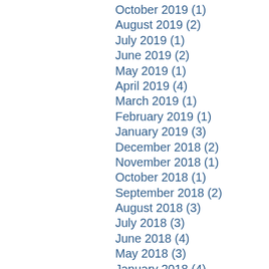October 2019 (1)
August 2019 (2)
July 2019 (1)
June 2019 (2)
May 2019 (1)
April 2019 (4)
March 2019 (1)
February 2019 (1)
January 2019 (3)
December 2018 (2)
November 2018 (1)
October 2018 (1)
September 2018 (2)
August 2018 (3)
July 2018 (3)
June 2018 (4)
May 2018 (3)
January 2018 (4)
December 2017 (1)